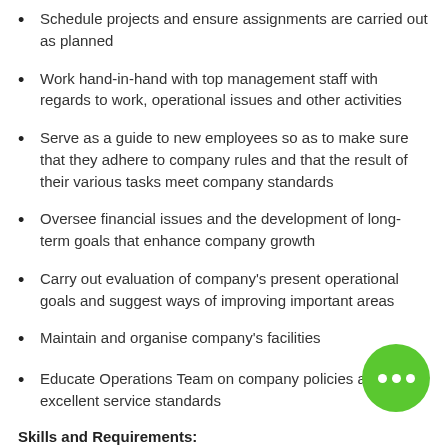Schedule projects and ensure assignments are carried out as planned
Work hand-in-hand with top management staff with regards to work, operational issues and other activities
Serve as a guide to new employees so as to make sure that they adhere to company rules and that the result of their various tasks meet company standards
Oversee financial issues and the development of long-term goals that enhance company growth
Carry out evaluation of company's present operational goals and suggest ways of improving important areas
Maintain and organise company's facilities
Educate Operations Team on company policies and excellent service standards
Skills and Requirements: